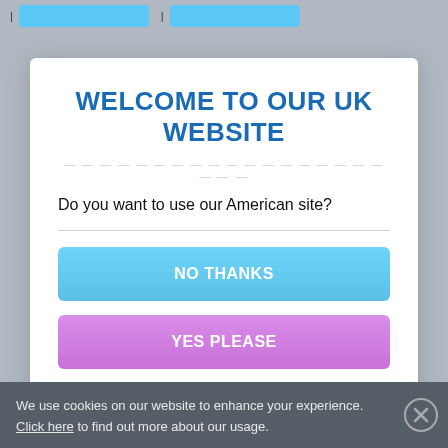[Figure (screenshot): Partial view of background page with light blue buttons at top]
WELCOME TO OUR UK WEBSITE
Do you want to use our American site?
NO THANKS
YES PLEASE
We use cookies on our website to enhance your experience. Click here to find out more about our usage.